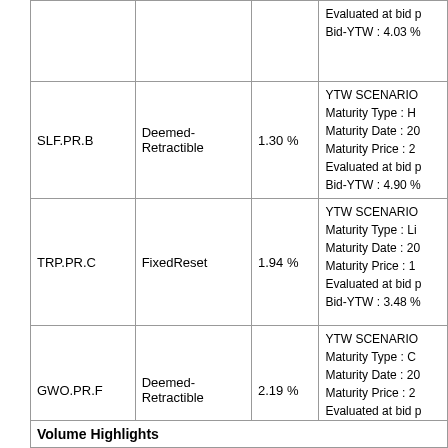| Issue | Index | Shares Traded | Notes |
| --- | --- | --- | --- |
|  |  |  | Evaluated at bid p
Bid-YTW : 4.03 % |
| SLF.PR.B | Deemed-Retractible | 1.30 % | YTW SCENARIO
Maturity Type : H
Maturity Date : 20
Maturity Price : 2
Evaluated at bid p
Bid-YTW : 4.90 % |
| TRP.PR.C | FixedReset | 1.94 % | YTW SCENARIO
Maturity Type : Li
Maturity Date : 20
Maturity Price : 1
Evaluated at bid p
Bid-YTW : 3.48 % |
| GWO.PR.F | Deemed-Retractible | 2.19 % | YTW SCENARIO
Maturity Type : C
Maturity Date : 20
Maturity Price : 2
Evaluated at bid p
Bid-YTW : -20.72 |
Volume Highlights
| Issue | Index | Shares Traded | Notes |
| --- | --- | --- | --- |
|  |  |  | New issue settled t |